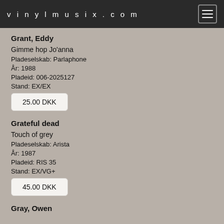vinylmusix.com
Grant, Eddy
Gimme hop Jo'anna
Pladeselskab: Parlaphone
År: 1988
Pladeid: 006-2025127
Stand: EX/EX
25.00 DKK
Grateful dead
Touch of grey
Pladeselskab: Arista
År: 1987
Pladeid: RIS 35
Stand: EX/VG+
45.00 DKK
Gray, Owen